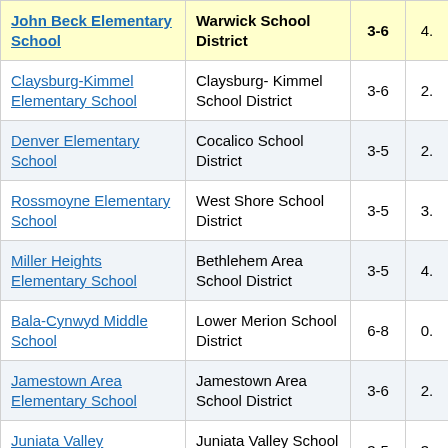| School | District | Grades |  |
| --- | --- | --- | --- |
| John Beck Elementary School | Warwick School District | 3-6 | 4. |
| Claysburg-Kimmel Elementary School | Claysburg-Kimmel School District | 3-6 | 2. |
| Denver Elementary School | Cocalico School District | 3-5 | 2. |
| Rossmoyne Elementary School | West Shore School District | 3-5 | 3. |
| Miller Heights Elementary School | Bethlehem Area School District | 3-5 | 4. |
| Bala-Cynwyd Middle School | Lower Merion School District | 6-8 | 0. |
| Jamestown Area Elementary School | Jamestown Area School District | 3-6 | 2. |
| Juniata Valley Elementary School | Juniata Valley School District | 3-5 | 3. |
| Trinity West | Trinity Area | 3-5 |  |